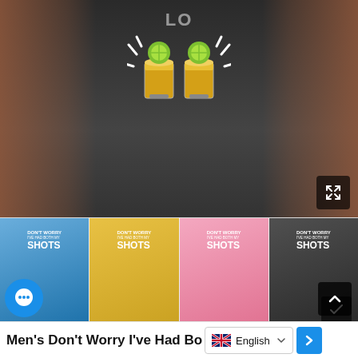[Figure (photo): Man with tattooed arms wearing a black t-shirt with two tequila shot glasses graphic and text, hands in pockets, with plants in background. Expand icon in bottom right corner.]
[Figure (photo): Four thumbnail product photos showing the same t-shirt design in blue, yellow, pink, and black colors. Each shirt reads 'DON'T WORRY I'VE HAD BOTH MY SHOTS' with tequila shot glass graphics. A blue chat bubble icon is in the bottom left of the thumbnail row and a dark scroll-up button is in the bottom right.]
Men's Don't Worry I've Had Bo
English language selector